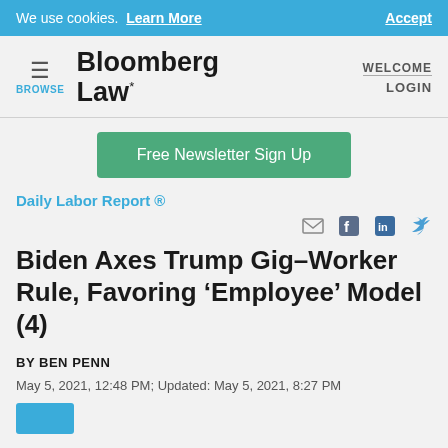We use cookies.  Learn More   Accept
[Figure (logo): Bloomberg Law logo with hamburger menu, BROWSE label, WELCOME and LOGIN links]
Free Newsletter Sign Up
Daily Labor Report ®
Biden Axes Trump Gig–Worker Rule, Favoring ‘Employee’ Model (4)
BY BEN PENN
May 5, 2021, 12:48 PM; Updated: May 5, 2021, 8:27 PM